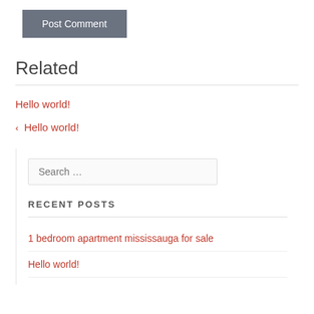[Figure (other): Post Comment button with dark grey background and white text]
Related
Hello world!
< Hello world!
[Figure (other): Search input field with placeholder text 'Search ...']
RECENT POSTS
1 bedroom apartment mississauga for sale
Hello world!